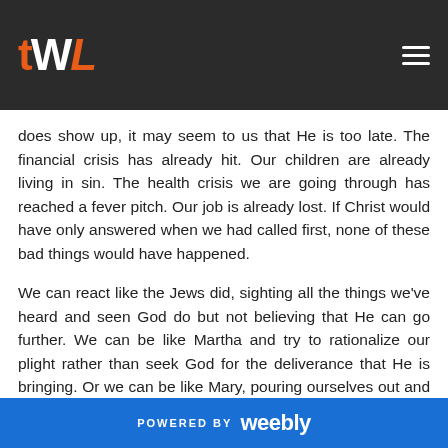TWL [logo with hamburger menu]
does show up, it may seem to us that He is too late.  The financial crisis has already hit.  Our children are already living in sin.  The health crisis we are going through has reached a fever pitch.  Our job is already lost.  If Christ would have only answered when we had called first, none of these bad things would have happened.
We can react like the Jews did, sighting all the things we've heard and seen God do but not believing that He can go further.  We can be like Martha and try to rationalize our plight rather than seek God for the deliverance that He is bringing.  Or we can be like Mary, pouring ourselves out and showing God our vulnerability in full.  It's when we act honestly, passionately and open before God that He responds exactly how we need.  We
POWERED BY weebly